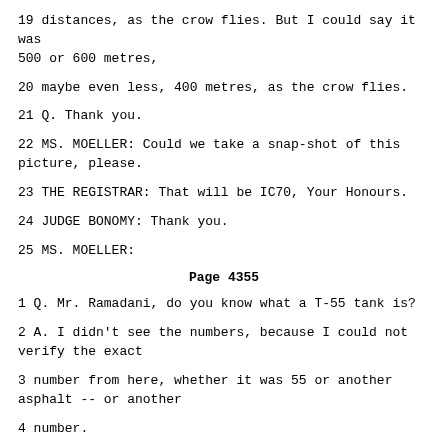19 distances, as the crow flies. But I could say it was 500 or 600 metres,
20 maybe even less, 400 metres, as the crow flies.
21 Q. Thank you.
22 MS. MOELLER: Could we take a snap-shot of this picture, please.
23 THE REGISTRAR: That will be IC70, Your Honours.
24 JUDGE BONOMY: Thank you.
25 MS. MOELLER:
Page 4355
1 Q. Mr. Ramadani, do you know what a T-55 tank is?
2 A. I didn't see the numbers, because I could not verify the exact
3 number from here, whether it was 55 or another asphalt -- or another
4 number.
5 THE INTERPRETER: Correction.
6 MS. MOELLER: